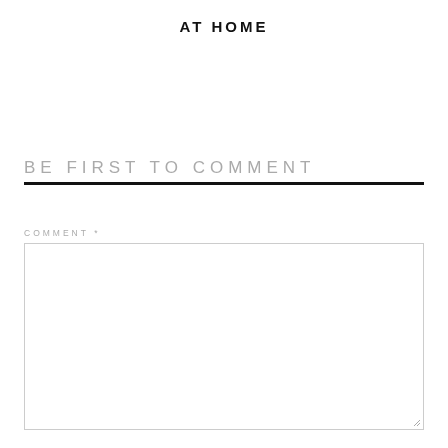AT HOME
BE FIRST TO COMMENT
COMMENT *